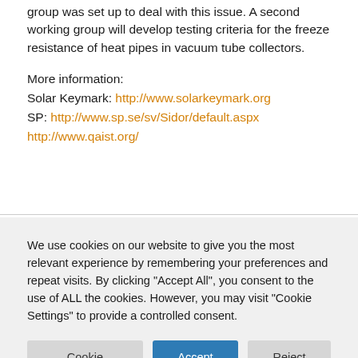group was set up to deal with this issue. A second working group will develop testing criteria for the freeze resistance of heat pipes in vacuum tube collectors.
More information:
Solar Keymark: http://www.solarkeymark.org
SP: http://www.sp.se/sv/Sidor/default.aspx
http://www.qaist.org/
We use cookies on our website to give you the most relevant experience by remembering your preferences and repeat visits. By clicking "Accept All", you consent to the use of ALL the cookies. However, you may visit "Cookie Settings" to provide a controlled consent.